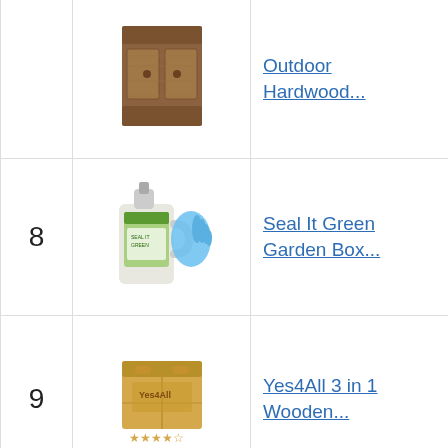| Rank | Image | Product Name | Score | Button |
| --- | --- | --- | --- | --- |
|  |  | Outdoor Hardwood... |  | B... A... |
| 8 |  | Seal It Green Garden Box... | 8.80 | B... A... |
| 9 |  | Yes4All 3 in 1 Wooden... | 8.00 | B... A... |
| 10 |  | Sauder 419496 Miscellaneous Storage Storage... | 7.90 | B... A... |